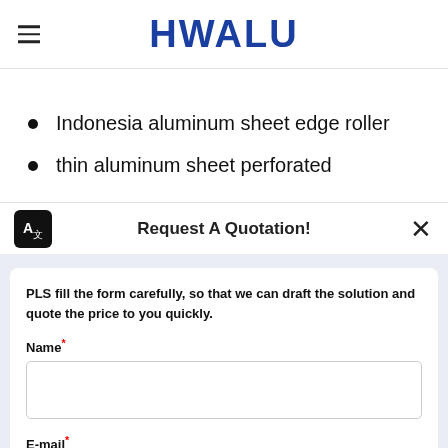HWALU
Indonesia aluminum sheet edge roller
thin aluminum sheet perforated
Request A Quotation!
PLS fill the form carefully, so that we can draft the solution and quote the price to you quickly.
Name*
E-mail*